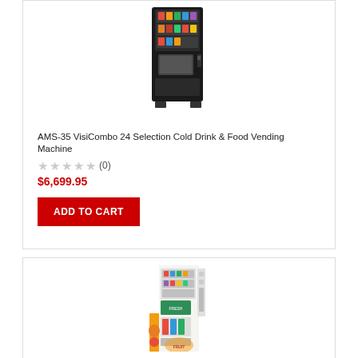[Figure (photo): AMS-35 VisiCombo vending machine - black vending machine with drink and food selections, shown from front view]
AMS-35 VisiCombo 24 Selection Cold Drink & Food Vending Machine
★★★★★ (0)
$6,699.95
ADD TO CART
[Figure (photo): Second vending machine with colorful wrap design showing healthy food options, front view]